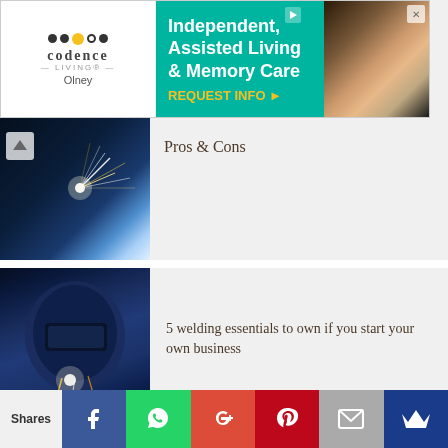[Figure (photo): Advertisement banner for Cadence Living Olney - Independent, Assisted Living & Memory Care with REQUEST INFO call to action]
[Figure (photo): Welding sparks photo with up arrow navigation button and partial text 'Pros & Cons']
[Figure (photo): Welder in blue helmet working on metal pieces]
5 welding essentials to own if you start your own business
[Figure (photo): Composite study table image with '50 STUDY TABLE' badge overlay]
Discover 50 Study Table Design With Striking Colour Palette
[Figure (infographic): Social sharing bar with Shares label, Facebook, WhatsApp, Google+, Pinterest, Email, and Crown buttons]